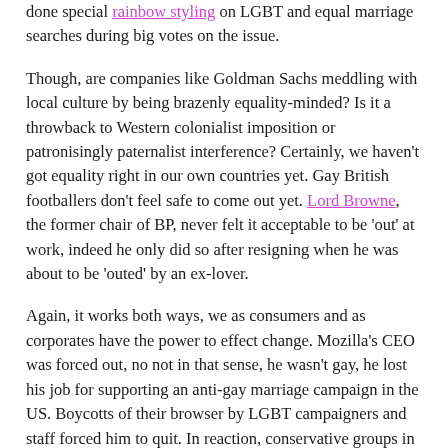done special rainbow styling on LGBT and equal marriage searches during big votes on the issue.
Though, are companies like Goldman Sachs meddling with local culture by being brazenly equality-minded? Is it a throwback to Western colonialist imposition or patronisingly paternalist interference? Certainly, we haven't got equality right in our own countries yet. Gay British footballers don't feel safe to come out yet. Lord Browne, the former chair of BP, never felt it acceptable to be 'out' at work, indeed he only did so after resigning when he was about to be 'outed' by an ex-lover.
Again, it works both ways, we as consumers and as corporates have the power to effect change. Mozilla's CEO was forced out, no not in that sense, he wasn't gay, he lost his job for supporting an anti-gay marriage campaign in the US. Boycotts of their browser by LGBT campaigners and staff forced him to quit. In reaction, conservative groups in America boycotted